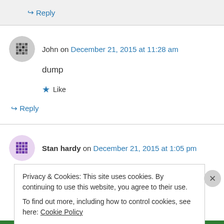↪ Reply
John on December 21, 2015 at 11:28 am
dump
★ Like
↪ Reply
Stan hardy on December 21, 2015 at 1:05 pm
Privacy & Cookies: This site uses cookies. By continuing to use this website, you agree to their use.
To find out more, including how to control cookies, see here: Cookie Policy
Close and accept